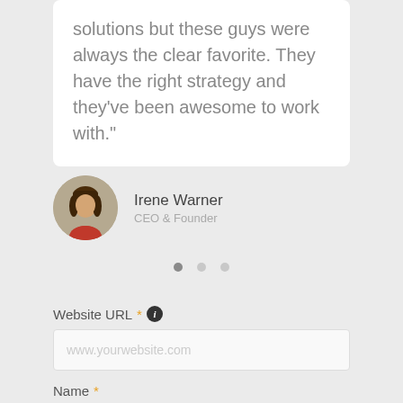solutions but these guys were always the clear favorite. They have the right strategy and they've been awesome to work with."
[Figure (illustration): Circular avatar illustration of a woman with brown hair and red top on a tan/olive background]
Irene Warner
CEO & Founder
[Figure (other): Three horizontal dots for carousel navigation, first dot filled dark, second and third lighter]
Website URL * (info icon)
www.yourwebsite.com
Name *